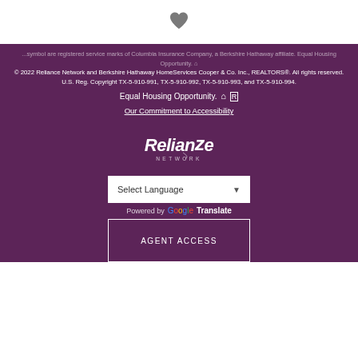[Figure (illustration): Heart icon (favorites/save icon) in gray color centered at the top of the page on white background]
symbol are registered service marks of Columbia Insurance Company, a Berkshire Hathaway affiliate. Equal Housing Opportunity. © 2022 Reliance Network and Berkshire Hathaway HomeServices Cooper & Co. Inc., REALTORS®. All rights reserved. U.S. Reg. Copyright TX-5-910-991, TX-5-910-992, TX-5-910-993, and TX-5-910-994.
Equal Housing Opportunity.
Our Commitment to Accessibility
[Figure (logo): Reliance Network logo in white/light color on dark purple background]
Select Language
Powered by Google Translate
AGENT ACCESS